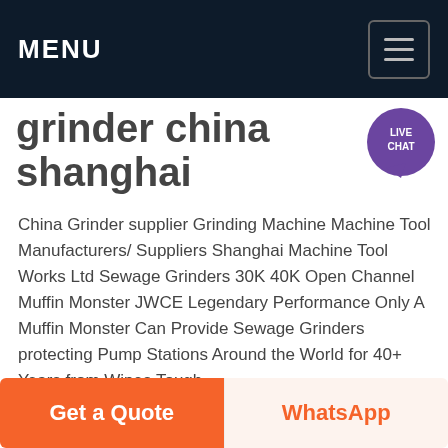MENU
grinder china shanghai
China Grinder supplier Grinding Machine Machine Tool Manufacturers/ Suppliers Shanghai Machine Tool Works Ltd Sewage Grinders 30K 40K Open Channel Muffin Monster JWCE Legendary Performance Only A Muffin Monster Can Provide Sewage Grinders protecting Pump Stations Around the World for 40+ Years from Wipes Tough Solids!
[Figure (screenshot): Yellow 'Get price' button]
[Figure (photo): Industrial grinder machinery image strip]
Get a Quote   WhatsApp